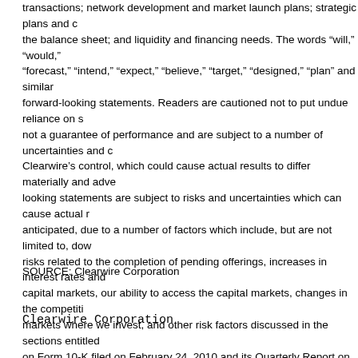transactions; network development and market launch plans; strategic plans and c the balance sheet; and liquidity and financing needs. The words "will," "would," "forecast," "intend," "expect," "believe," "target," "designed," "plan" and similar forward-looking statements. Readers are cautioned not to put undue reliance on s not a guarantee of performance and are subject to a number of uncertainties and c Clearwire's control, which could cause actual results to differ materially and adve looking statements are subject to risks and uncertainties which can cause actual r anticipated, due to a number of factors which include, but are not limited to, dow risks related to the completion of pending offerings, increases in interest rates and capital markets, our ability to access the capital markets, changes in the competiti markets where we invest, and other risk factors discussed in the sections entitled on Form 10-K filed on February 24, 2010 and its Quarterly Report on Form 10-Q the forward-looking statements in this release are reasonable; however, you shoul looking statements, which are based on current expectations and speak only as of obligated to publicly release any revisions to forward-looking statements to refle
SOURCE: Clearwire Corporation
Clearwire Corporation